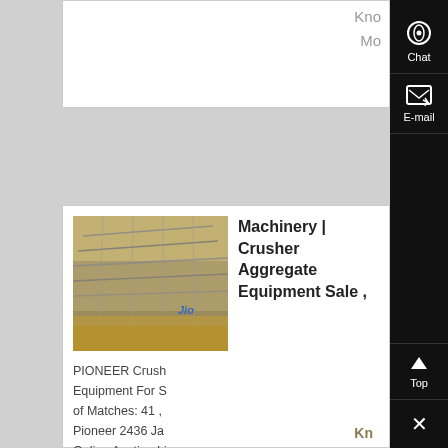Kno
Mo
[Figure (photo): Crusher and aggregate equipment machinery photo with metallic components]
Machinery | Crusher Aggregate Equipment Sale ,
PIONEER Crush Equipment For S of Matches: 41 , Pioneer 2436 Ja Online Auction Li
Kn